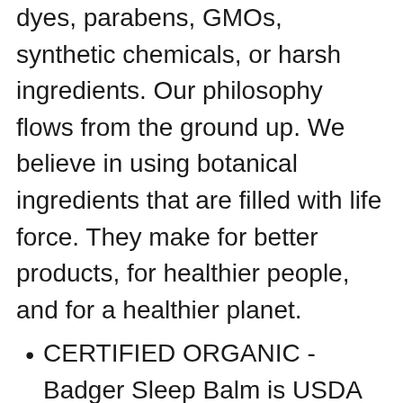dyes, parabens, GMOs, synthetic chemicals, or harsh ingredients. Our philosophy flows from the ground up. We believe in using botanical ingredients that are filled with life force. They make for better products, for healthier people, and for a healthier planet.
CERTIFIED ORGANIC - Badger Sleep Balm is USDA Certified Organic and petrolatum-free. The organic certification is an agricultural standard which ensures that ingredients are not genetically